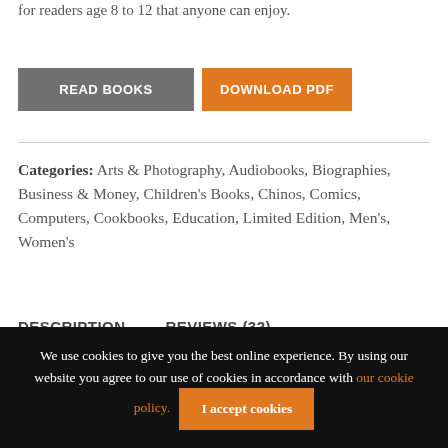for readers age 8 to 12 that anyone can enjoy.
READ BOOKS   DOWNLOAD PDF
Categories: Arts & Photography, Audiobooks, Biographies, Business & Money, Children's Books, Chinos, Comics, Computers, Cookbooks, Education, Limited Edition, Men's, Women's
DESCRIPTION   REVIEWS (32)
We use cookies to give you the best online experience. By using our website you agree to our use of cookies in accordance with our cookie policy. I accept cookies